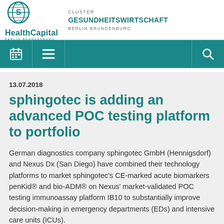HealthCapital Berlin Brandenburg | Cluster Gesundheitswirtschaft Berlin Brandenburg
[Figure (logo): HealthCapital Berlin Brandenburg logo with globe icon, and Cluster Gesundheitswirtschaft Berlin Brandenburg text]
13.07.2018
sphingotec is adding an advanced POC testing platform to portfolio
German diagnostics company sphingotec GmbH (Hennigsdorf) and Nexus Dx (San Diego) have combined their technology platforms to market sphingotec's CE-marked acute biomarkers penKid® and bio-ADM® on Nexus' market-validated POC testing immunoassay platform IB10 to substantially improve decision-making in emergency departments (EDs) and intensive care units (ICUs).